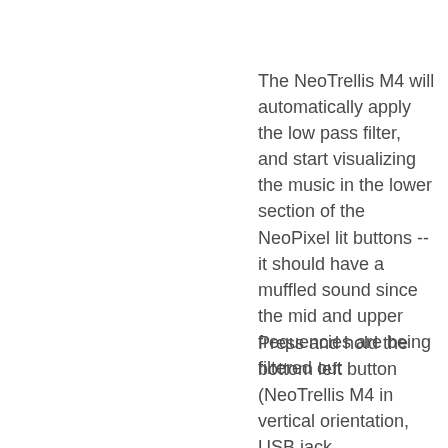The NeoTrellis M4 will automatically apply the low pass filter, and start visualizing the music in the lower section of the NeoPixel lit buttons -- it should have a muffled sound since the mid and upper frequencies are being filtered out
Press and hold the bottom left button (NeoTrellis M4 in vertical orientation, USB jack